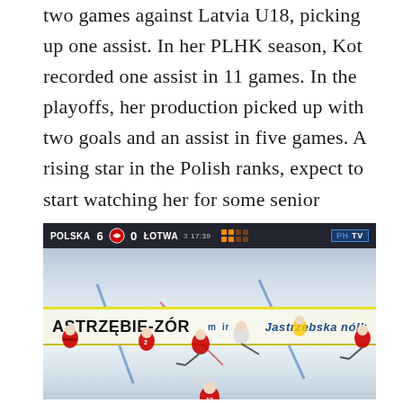two games against Latvia U18, picking up one assist. In her PLHK season, Kot recorded one assist in 11 games. In the playoffs, her production picked up with two goals and an assist in five games. A rising star in the Polish ranks, expect to start watching her for some senior chances in just the next couple of years.
[Figure (photo): Ice hockey game broadcast screenshot showing a Polish women's hockey game against Latvia (ŁOTWA). Scoreboard shows POLSKA 6 – 0 ŁOTWA, 3rd period. PH TV broadcast logo visible. Rink dasher boards show 'JASTRZĘBIE-ZÓR' venue branding and Jastrzebska sponsor logo. Several players in red and white uniforms on the ice.]